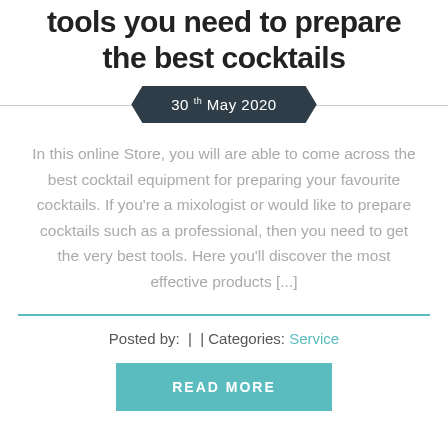tools you need to prepare the best cocktails
30th May 2020
In this online Store, you will are able to come across the best cocktail equipment for preparing your favourite cocktails. If you're a mixologist or would like to prepare cocktails such as a professional, then you need to get the very best tools. Here you'll discover the most effective products [...]
Posted by:  |  | Categories: Service
READ MORE